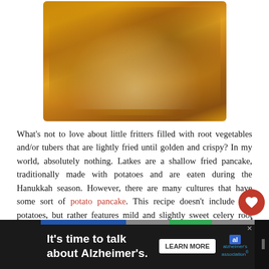[Figure (photo): A plate of golden-brown latkes (fried fritter pancakes) on a white plate, viewed from above.]
What's not to love about little fritters filled with root vegetables and/or tubers that are lightly fried until golden and crispy? In my world, absolutely nothing. Latkes are a shallow fried pancake, traditionally made with potatoes and are eaten during the Hanukkah season. However, there are many cultures that have some sort of potato pancake. This recipe doesn't include any potatoes, but rather features mild and slightly sweet celery root (celeriac) and mildly spicy parsnips. It is adapted from the parsnip latke recipe in Cook This Now by Melissa Clarke. I had a bag of parsnips already and we visited a winter farmers' market recently that had fresh lovely celery root that I couldn't resist. And, just in case that wasn't enough vegetables (I think I've stated my love or root vegetables before), I added horseradish into the sour cream. Delicious. I also served them with some homemade applesauce.
[Figure (screenshot): Advertisement banner: 'It's time to talk about Alzheimer's.' with a Learn More button and Alzheimer's Association logo.]